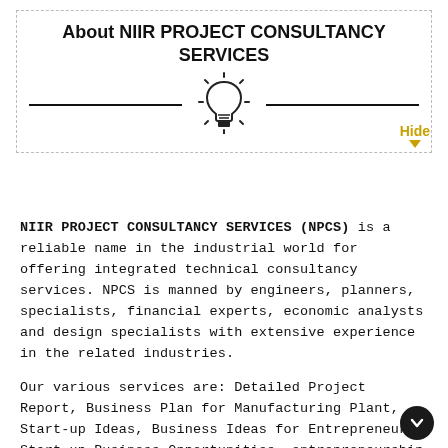About NIIR PROJECT CONSULTANCY SERVICES
[Figure (illustration): Light bulb icon with rays, centered between two horizontal divider lines]
NIIR PROJECT CONSULTANCY SERVICES (NPCS) is a reliable name in the industrial world for offering integrated technical consultancy services. NPCS is manned by engineers, planners, specialists, financial experts, economic analysts and design specialists with extensive experience in the related industries.
Our various services are: Detailed Project Report, Business Plan for Manufacturing Plant, Start-up Ideas, Business Ideas for Entrepreneurs, Start up Business Opportunities, entrepreneurship projects, Successful Business Plan, Industry Trends, Market Research, Manufacturing Process, Machinery, Raw Materials, project